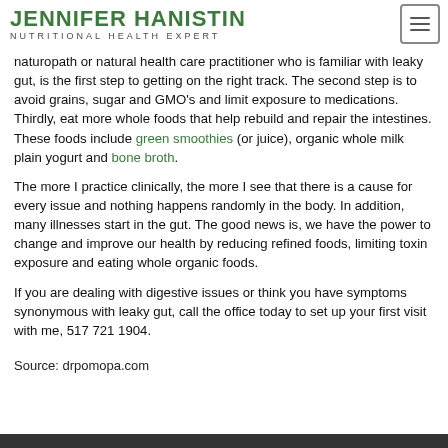NUTRITIONAL HEALTH EXPERT
naturopath or natural health care practitioner who is familiar with leaky gut, is the first step to getting on the right track. The second step is to avoid grains, sugar and GMO’s and limit exposure to medications. Thirdly, eat more whole foods that help rebuild and repair the intestines. These foods include green smoothies (or juice), organic whole milk plain yogurt and bone broth.
The more I practice clinically, the more I see that there is a cause for every issue and nothing happens randomly in the body. In addition, many illnesses start in the gut. The good news is, we have the power to change and improve our health by reducing refined foods, limiting toxin exposure and eating whole organic foods.
If you are dealing with digestive issues or think you have symptoms synonymous with leaky gut, call the office today to set up your first visit with me, 517 721 1904.
Source: drpomopa.com